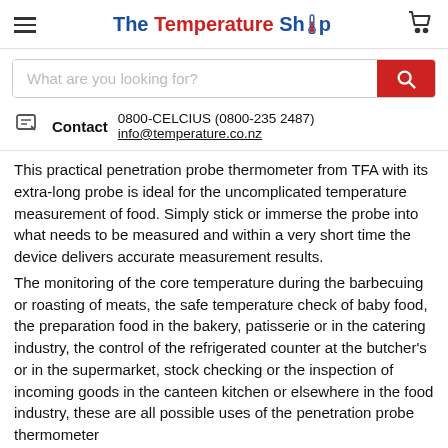The Temperature Shop
What are you looking for?
Contact  0800-CELCIUS (0800-235 2487)  info@temperature.co.nz
This practical penetration probe thermometer from TFA with its extra-long probe is ideal for the uncomplicated temperature measurement of food. Simply stick or immerse the probe into what needs to be measured and within a very short time the device delivers accurate measurement results.
The monitoring of the core temperature during the barbecuing or roasting of meats, the safe temperature check of baby food, the preparation food in the bakery, patisserie or in the catering industry, the control of the refrigerated counter at the butcher's or in the supermarket, stock checking or the inspection of incoming goods in the canteen kitchen or elsewhere in the food industry, these are all possible uses of the penetration probe thermometer